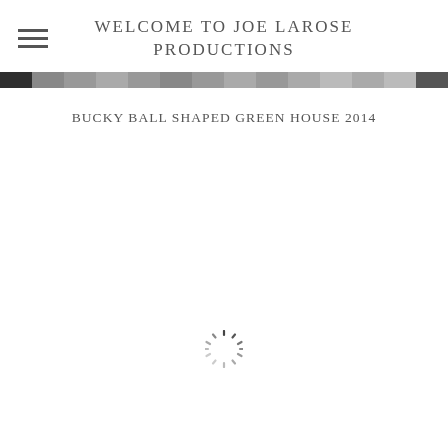WELCOME TO JOE LAROSE PRODUCTIONS
BUCKY BALL SHAPED GREEN HOUSE 2014
[Figure (other): Loading spinner / throbber icon consisting of radial lines arranged in a circle, indicating a loading or processing state]